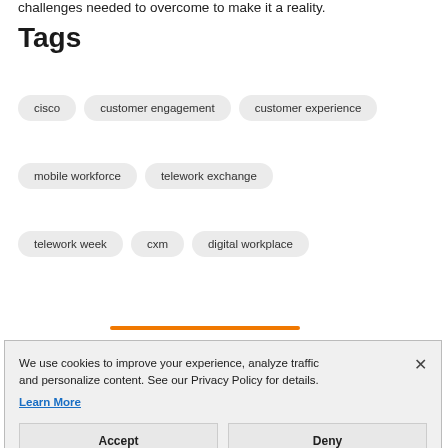challenges needed to overcome to make it a reality.
Tags
cisco
customer engagement
customer experience
mobile workforce
telework exchange
telework week
cxm
digital workplace
We use cookies to improve your experience, analyze traffic and personalize content. See our Privacy Policy for details.
Learn More
Accept
Deny